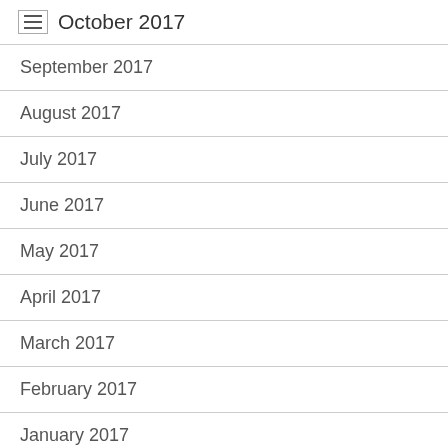October 2017
September 2017
August 2017
July 2017
June 2017
May 2017
April 2017
March 2017
February 2017
January 2017
December 2016